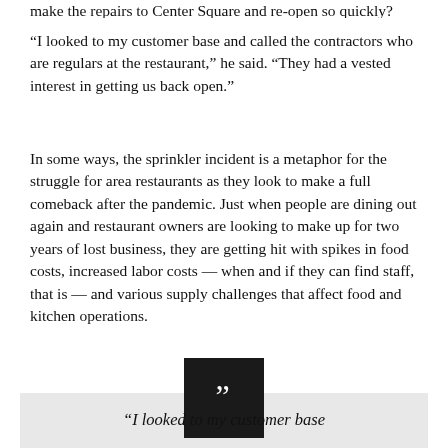make the repairs to Center Square and re-open so quickly?
“I looked to my customer base and called the contractors who are regulars at the restaurant,” he said. “They had a vested interest in getting us back open.”
In some ways, the sprinkler incident is a metaphor for the struggle for area restaurants as they look to make a full comeback after the pandemic. Just when people are dining out again and restaurant owners are looking to make up for two years of lost business, they are getting hit with spikes in food costs, increased labor costs — when and if they can find staff, that is — and various supply challenges that affect food and kitchen operations.
[Figure (other): Dark square icon with white quotation marks, positioned above a pullquote block]
“I looked to my customer base